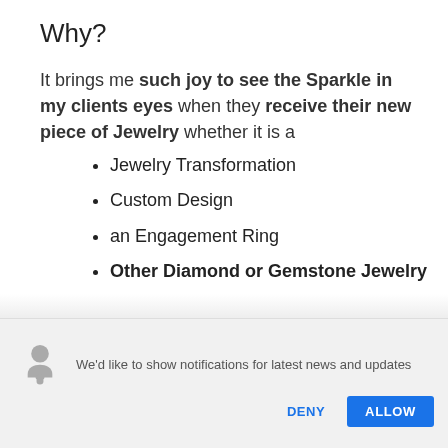Why?
It brings me such joy to see the Sparkle in my clients eyes when they receive their new piece of Jewelry whether it is a
Jewelry Transformation
Custom Design
an Engagement Ring
Other Diamond or Gemstone Jewelry
We'd like to show notifications for latest news and updates